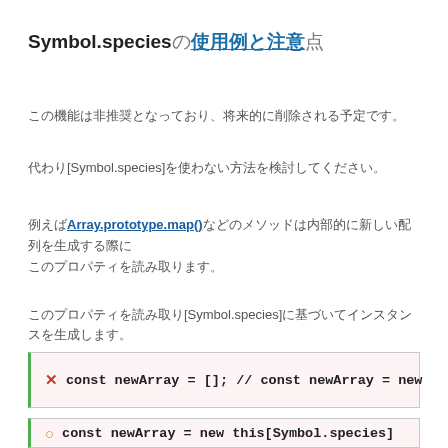Symbol.species の使用例と注意点
この機能は非推奨となっており、将来的に削除される予定です。
代わり [Symbol.species] を使わない方法を検討してください。
例えば Array.prototype.map() などのメソッドは内部的に新しい配列を生成する際に
このプロパティを読み取り [Symbol.species] に基づいてインスタンスを生成します。
const newArray = []; // const newArray = new
○ const newArray = new this[Symbol.species]